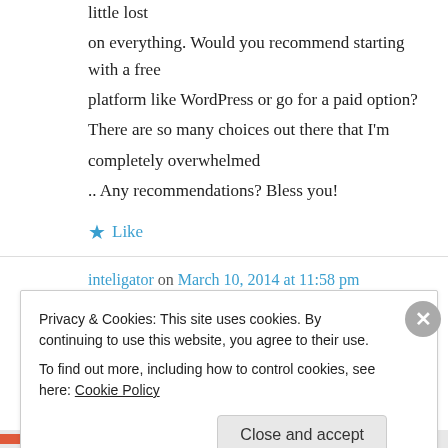little lost on everything. Would you recommend starting with a free platform like WordPress or go for a paid option? There are so many choices out there that I'm completely overwhelmed .. Any recommendations? Bless you!
★ Like
inteligator on March 10, 2014 at 11:58 pm
Privacy & Cookies: This site uses cookies. By continuing to use this website, you agree to their use.
To find out more, including how to control cookies, see here: Cookie Policy
Close and accept